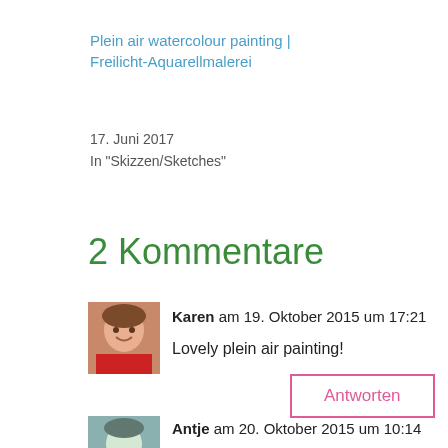Plein air watercolour painting | Freilicht-Aquarellmalerei
17. Juni 2017
In "Skizzen/Sketches"
2 Kommentare
[Figure (photo): Avatar photo of Karen, a woman smiling, wearing a red top]
Karen am 19. Oktober 2015 um 17:21
Lovely plein air painting!
Antworten
[Figure (photo): Avatar photo of Antje, partially visible at bottom of page]
Antje am 20. Oktober 2015 um 10:14